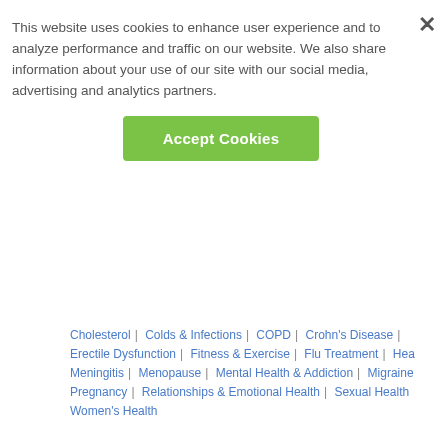This website uses cookies to enhance user experience and to analyze performance and traffic on our website. We also share information about your use of our site with our social media, advertising and analytics partners.
Accept Cookies
Cholesterol | Colds & Infections | COPD | Crohn's Disease |
Erectile Dysfunction | Fitness & Exercise | Flu Treatment | Hea...
Meningitis | Menopause | Mental Health & Addiction | Migraine...
Pregnancy | Relationships & Emotional Health | Sexual Health...
Women's Health
QualityHealth® A Sharecare Company
Ad Choices
Advertise with Us
Affiliate Program
Contact Us
Contributors
Cookie Policy